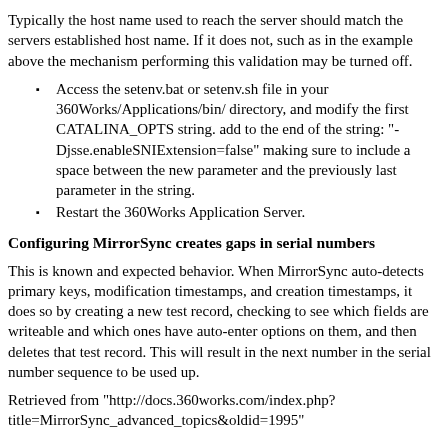Typically the host name used to reach the server should match the servers established host name. If it does not, such as in the example above the mechanism performing this validation may be turned off.
Access the setenv.bat or setenv.sh file in your 360Works/Applications/bin/ directory, and modify the first CATALINA_OPTS string. add to the end of the string: "-Djsse.enableSNIExtension=false" making sure to include a space between the new parameter and the previously last parameter in the string.
Restart the 360Works Application Server.
Configuring MirrorSync creates gaps in serial numbers
This is known and expected behavior. When MirrorSync auto-detects primary keys, modification timestamps, and creation timestamps, it does so by creating a new test record, checking to see which fields are writeable and which ones have auto-enter options on them, and then deletes that test record. This will result in the next number in the serial number sequence to be used up.
Retrieved from "http://docs.360works.com/index.php?title=MirrorSync_advanced_topics&oldid=1995"